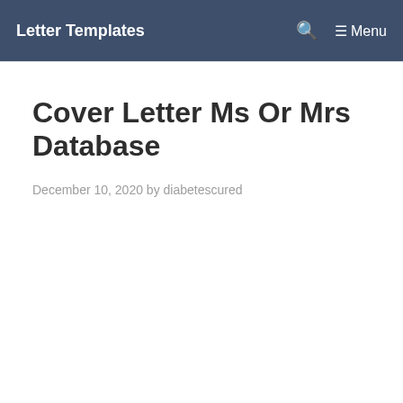Letter Templates  Menu
Cover Letter Ms Or Mrs Database
December 10, 2020 by diabetescured